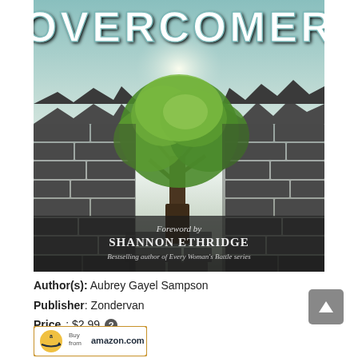[Figure (illustration): Book cover for 'Overcomer' showing a tree growing through a broken stone wall against a teal sky background. Text reads 'OVERCOMER' at top in white letters, 'Foreword by SHANNON ETHRIDGE', 'Bestselling author of Every Woman's Battle series' at bottom.]
Author(s): Aubrey Gayel Sampson
Publisher: Zondervan
Price: $2.99 ?
[Figure (logo): Amazon.com 'Buy from amazon.com' button with Amazon logo arrow]